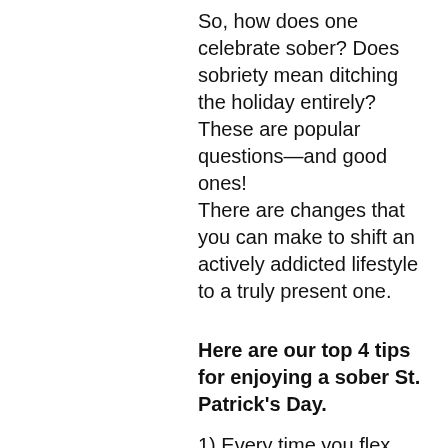So, how does one celebrate sober? Does sobriety mean ditching the holiday entirely?
These are popular questions—and good ones!
There are changes that you can make to shift an actively addicted lifestyle to a truly present one.
Here are our top 4 tips for enjoying a sober St. Patrick's Day.
1) Every time you flex your "recovery muscle" it gets stronger, meaning you're building strength with every healthy decision. Hit the "emotional gym" and just say no.
2) There is more out there than what